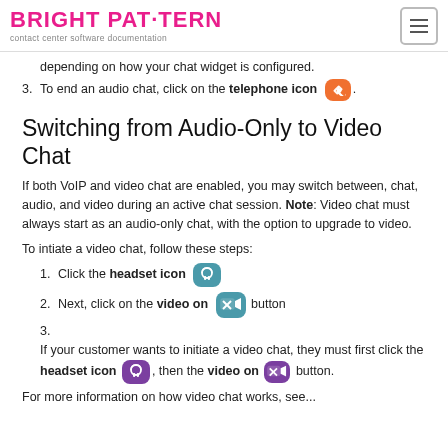BRIGHT PAT·TERN contact center software documentation
depending on how your chat widget is configured.
To end an audio chat, click on the telephone icon [icon].
Switching from Audio-Only to Video Chat
If both VoIP and video chat are enabled, you may switch between, chat, audio, and video during an active chat session. Note: Video chat must always start as an audio-only chat, with the option to upgrade to video.
To intiate a video chat, follow these steps:
Click the headset icon [icon]
Next, click on the video on [icon] button
If your customer wants to initiate a video chat, they must first click the headset icon [icon], then the video on [icon] button.
For more information on how video chat works, see...